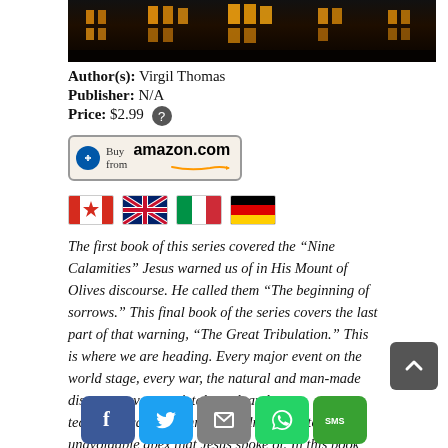[Figure (photo): Dark photograph of a building at night with illuminated windows]
Author(s): Virgil Thomas
Publisher: N/A
Price: $2.99
[Figure (other): Buy from amazon.com button]
[Figure (other): Country flag icons: Canada, UK, Italy, Germany]
The first book of this series covered the “Nine Calamities” Jesus warned us of in His Mount of Olives discourse. He called them “The beginning of sorrows.” This final book of the series covers the last part of that warning, “The Great Tribulation.” This is where we are heading. Every major event on the world stage, every war, the natural and man-made disasters, every societal trend, and every technological breakthrough is driving us to that unavoidable apex that Jesus spoke of. In this book I’ve attempted to sequence and order these events and passages. What I have uncovered is both fascinating and terrifying, and sometimes beyond comprehen…